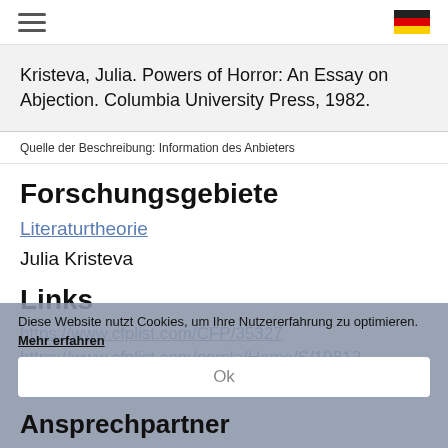Kristeva, Julia. Powers of Horror: An Essay on Abjection. Columbia University Press, 1982.
Quelle der Beschreibung: Information des Anbieters
Forschungsgebiete
Literaturtheorie
Julia Kristeva
Links
https://www.cfplist.com/CFP/35327
https://www.cfplist.com/nemla/Home/S/19812
Diese Website nutzt Cookies, um Ihre Nutzererfahrung zu optimieren. Mehr erfahren
Ansprechpartner